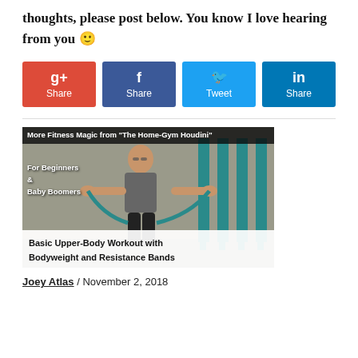thoughts, please post below. You know I love hearing from you 🙂
[Figure (infographic): Four social sharing buttons: Google+ Share (red), Facebook Share (dark blue), Twitter Tweet (light blue), LinkedIn Share (darker blue)]
[Figure (photo): Video thumbnail: 'More Fitness Magic from The Home-Gym Houdini' — man in home gym with resistance bands and squat rack. Text overlays: 'For Beginners & Baby Boomers' and 'Basic Upper-Body Workout with Bodyweight and Resistance Bands']
Joey Atlas / November 2, 2018